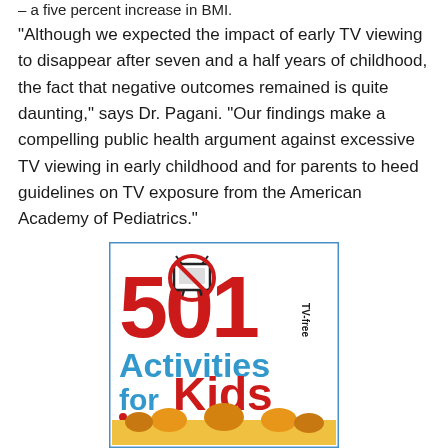a five percent increase in BMI.
“Although we expected the impact of early TV viewing to disappear after seven and a half years of childhood, the fact that negative outcomes remained is quite daunting,” says Dr. Pagani. “Our findings make a compelling public health argument against excessive TV viewing in early childhood and for parents to heed guidelines on TV exposure from the American Academy of Pediatrics.”
[Figure (illustration): Book cover for '501 TV-Free Activities for Kids' with large red numerals 501, a crossed-out TV icon, blue text 'Activities for', red 'Kids', and children at the bottom.]